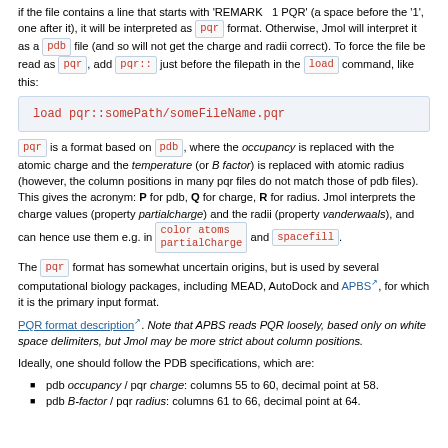if the file contains a line that starts with 'REMARK   1 PQR' (a space before the '1', one after it), it will be interpreted as pqr format. Otherwise, Jmol will interpret it as a pdb file (and so will not get the charge and radii correct). To force the file be read as pqr, add pqr:: just before the filepath in the load command, like this:
load pqr::somePath/someFileName.pqr
pqr is a format based on pdb, where the occupancy is replaced with the atomic charge and the temperature (or B factor) is replaced with atomic radius (however, the column positions in many pqr files do not match those of pdb files). This gives the acronym: P for pdb, Q for charge, R for radius. Jmol interprets the charge values (property partialcharge) and the radii (property vanderwaals), and can hence use them e.g. in color atoms partialCharge and spacefill.
The pqr format has somewhat uncertain origins, but is used by several computational biology packages, including MEAD, AutoDock and APBS, for which it is the primary input format.
PQR format description. Note that APBS reads PQR loosely, based only on white space delimiters, but Jmol may be more strict about column positions.
Ideally, one should follow the PDB specifications, which are:
pdb occupancy / pqr charge: columns 55 to 60, decimal point at 58.
pdb B-factor / pqr radius: columns 61 to 66, decimal point at 64.